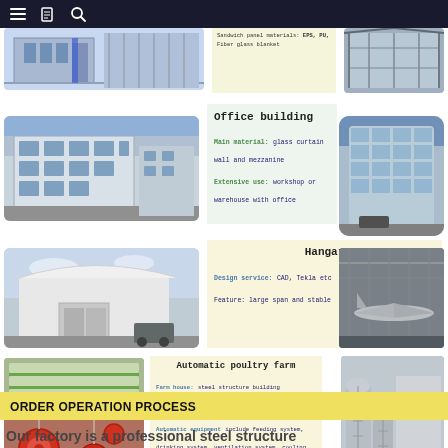Navigation bar with menu, book, and search icons
[Figure (photo): Partial view of steel structure building with blue elements (top, cropped)]
Sandwich panel materials: EPS, PU, Fiber glass blanket
[Figure (photo): Steel frame structure building exterior (right, top)]
Office building
[Figure (photo): Office building with glass curtain wall facade, exterior view (left)]
Main material: glass curtain wall and mezzanine
Extensive use: workshop or warehouse with office
[Figure (photo): Modern office building with glass curtain wall (right)]
[Figure (photo): Hangar exterior building with white walls (left)]
Hangar
Design service: CAD, Tekla etc
Feature: large span and stable
[Figure (photo): Aircraft hangar interior with planes (right)]
Automatic poultry farm
[Figure (photo): Aerial view of poultry farm buildings (top left)]
[Figure (photo): Poultry farm feeding equipment interior (bottom left)]
Farm house: steel structure building
Use: chicken, pig, cow, duck
Automatic equipment include feeding system, drinking system, ventilation system, cooling system etc.
[Figure (photo): Grain silos and storage tanks beside building (right)]
ORDER OPERATION PROCESS
Our factory is a professional steel structure